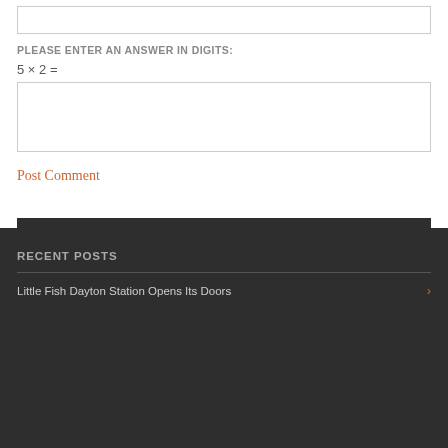PLEASE ENTER AN ANSWER IN DIGITS:
Post Comment
RECENT POSTS
Little Fish Dayton Station Opens Its Doors